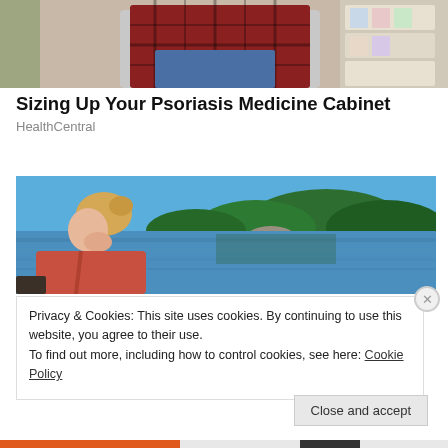[Figure (photo): Partial view of a person in a plaid shirt reaching toward a shelf or board, cropped at the top of the page]
Sizing Up Your Psoriasis Medicine Cabinet
HealthCentral
[Figure (photo): Woman with blonde hair in profile looking down, beside a calm blue lake with green forested hills in the background]
Privacy & Cookies: This site uses cookies. By continuing to use this website, you agree to their use.
To find out more, including how to control cookies, see here: Cookie Policy
Close and accept